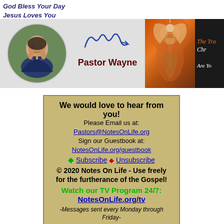God Bless Your Day
Jesus Loves You
[Figure (photo): Banner with circular photo of Pastor Wayne, his signature, and the text 'Pastor Wayne', alongside an angel illustration and dark banner with partial text 'The Tru Chr Are You']
We would love to hear from you!
Please Email us at:
Pastors@NotesOnLife.org
Sign our Guestbook at:
NotesOnLife.org/guestbook
♦ Subscribe ♦ Unsubscribe
© 2020 Notes On Life - Use freely for the furtherance of the Gospel!
Watch our TV Program 24/7:
NotesOnLife.org/tv
-Messages sent every Monday through Friday-
(If you are NOT seeing these daily check your SPAM or TRASH Folders)
Please share this message with someone who needs it!